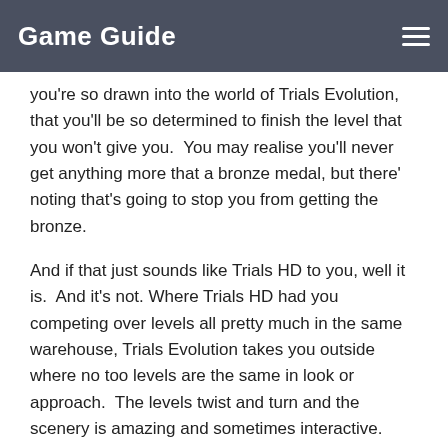Game Guide
you're so drawn into the world of Trials Evolution, that you'll be so determined to finish the level that you won't give you. You may realise you'll never get anything more that a bronze medal, but there' noting that's going to stop you from getting the bronze.
And if that just sounds like Trials HD to you, well it is. And it's not. Where Trials HD had you competing over levels all pretty much in the same warehouse, Trials Evolution takes you outside where no too levels are the same in look or approach. The levels twist and turn and the scenery is amazing and sometimes interactive.
There's even levels that pay tribute to other popular XBox Live Arcade games such as Limbo.
As much as the basic game is worth the price on it's own, Trails Evolution does have some less than stellar features added to it. The main one being the ability to unlock gear that you can spend your earnings on. Clothes and motorbike parts are available if you